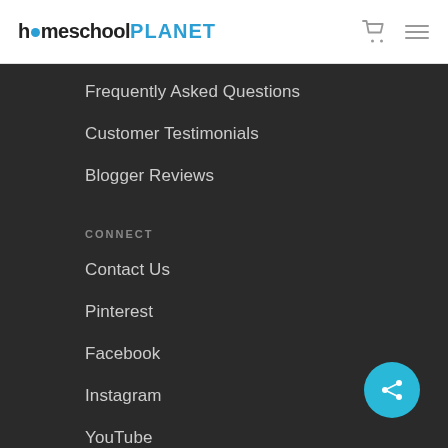homeschoolPLANET
Frequently Asked Questions
Customer Testimonials
Blogger Reviews
CONNECT
Contact Us
Pinterest
Facebook
Instagram
YouTube